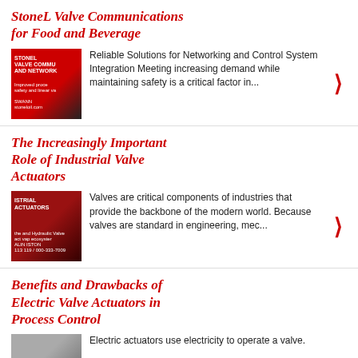StoneL Valve Communications for Food and Beverage
Reliable Solutions for Networking and Control System Integration Meeting increasing demand while maintaining safety is a critical factor in...
The Increasingly Important Role of Industrial Valve Actuators
Valves are critical components of industries that provide the backbone of the modern world. Because valves are standard in engineering, mec...
Benefits and Drawbacks of Electric Valve Actuators in Process Control
Electric actuators use electricity to operate a valve.